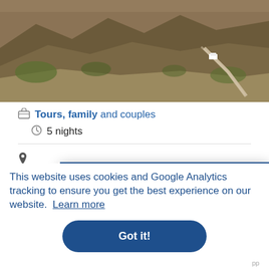[Figure (photo): Aerial landscape photo showing a white van on a winding dirt road through hilly terrain with brown and green vegetation]
Tours, family and couples
5 nights
Stay updated
Be the first to hear about our latest offers and promotions.
This website uses cookies and Google Analytics tracking to ensure you get the best experience on our website. Learn more
Got it!